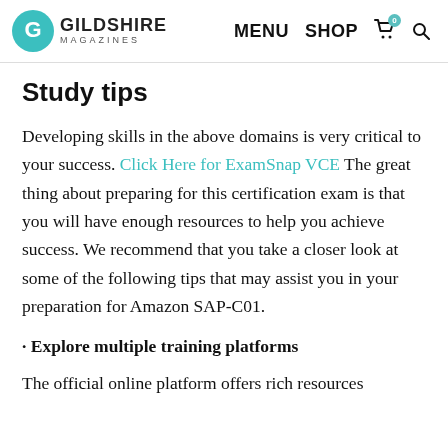GILDSHIRE MAGAZINES | MENU SHOP
Study tips
Developing skills in the above domains is very critical to your success. Click Here for ExamSnap VCE The great thing about preparing for this certification exam is that you will have enough resources to help you achieve success. We recommend that you take a closer look at some of the following tips that may assist you in your preparation for Amazon SAP-C01.
· Explore multiple training platforms
The official online platform offers rich resources